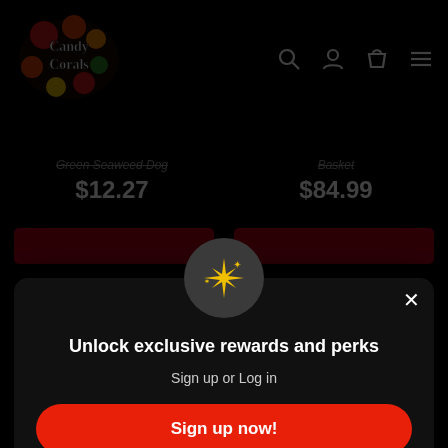Candy Corals - header navigation
Green Seaweed Dog  $12.27
Basket  $84.99
Unlock exclusive rewards and perks
Sign up or Log in
Sign up now!
Already have an account? Sign in
From $22.99 to $49.99
$15.99